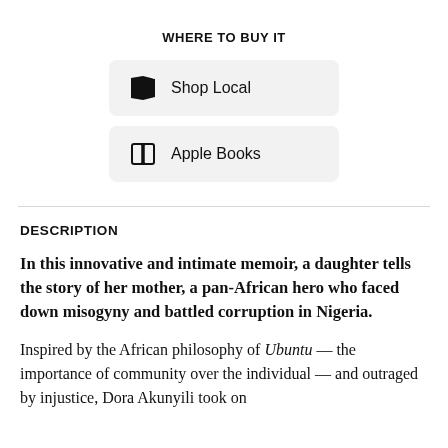WHERE TO BUY IT
[Figure (other): Shop Local button with book icon on grey rounded rectangle]
[Figure (other): Apple Books button with book icon on grey rounded rectangle]
DESCRIPTION
In this innovative and intimate memoir, a daughter tells the story of her mother, a pan-African hero who faced down misogyny and battled corruption in Nigeria.
Inspired by the African philosophy of Ubuntu — the importance of community over the individual — and outraged by injustice, Dora Akunyili took on